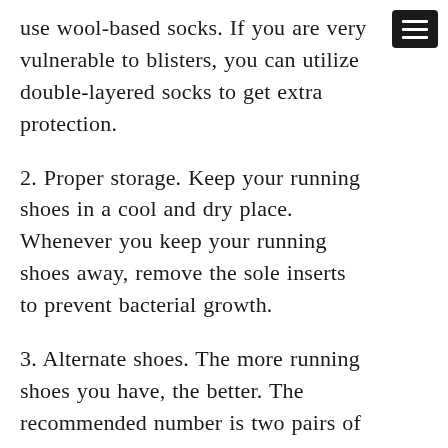use wool-based socks. If you are very vulnerable to blisters, you can utilize double-layered socks to get extra protection.
2. Proper storage. Keep your running shoes in a cool and dry place. Whenever you keep your running shoes away, remove the sole inserts to prevent bacterial growth.
3. Alternate shoes. The more running shoes you have, the better. The recommended number is two pairs of running shoes so that you can give each pair a